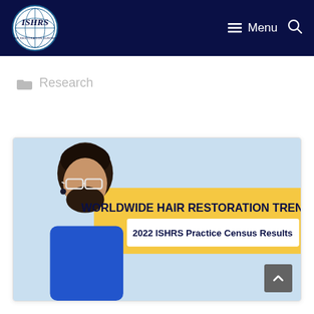ISHRS - International Society of Hair Restoration Surgery | Menu
Research
[Figure (illustration): Promotional banner for '2022 ISHRS Practice Census Results' showing a bearded man with glasses on a light blue background, with a yellow band reading 'WORLDWIDE HAIR RESTORATION TRENDS' and a white sub-banner reading '2022 ISHRS Practice Census Results'.]